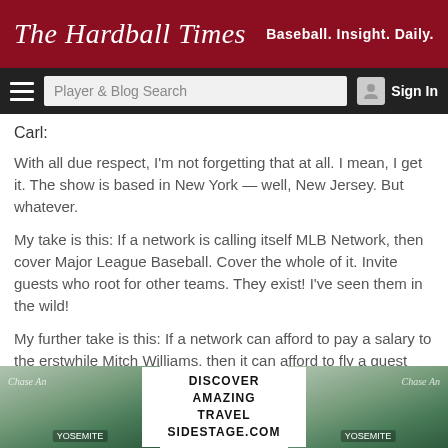The Hardball Times — Baseball. Insight. Daily.
Carl:
With all due respect, I'm not forgetting that at all. I mean, I get it. The show is based in New York — well, New Jersey. But whatever.
My take is this: If a network is calling itself MLB Network, then cover Major League Baseball. Cover the whole of it. Invite guests who root for other teams. They exist! I've seen them in the wild!
My further take is this: If a network can afford to pay a salary to the erstwhile Mitch Williams, then it can afford to fly a guest from, say, the Midwest. At last count, the Midwest actually boasts three entire airports. I mean, they're basically
[Figure (infographic): Advertisement banner: DISCOVER AMAZING TRAVEL SIDESTAGE.COM with mountain/Yosemite background images on either side]